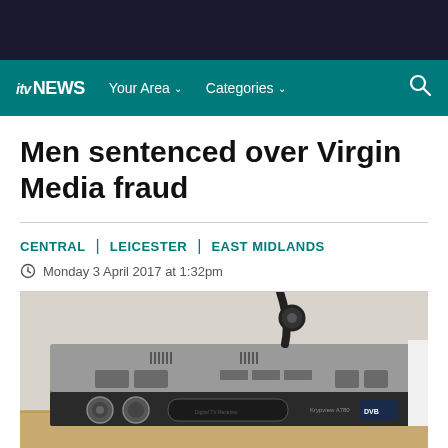itv NEWS | Your Area | Categories
Men sentenced over Virgin Media fraud
CENTRAL | LEICESTER | EAST MIDLANDS
Monday 3 April 2017 at 1:32pm
[Figure (photo): A Krypview A780 Digital TV Receiver set-top box on a wooden surface, shown from a slight angle. The silver and black device has ventilation slots, buttons on the front panel, and a coaxial cable on top.]